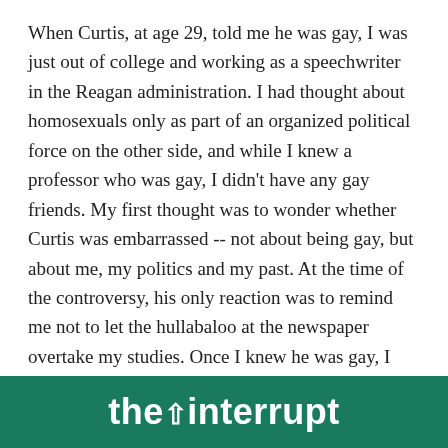When Curtis, at age 29, told me he was gay, I was just out of college and working as a speechwriter in the Reagan administration. I had thought about homosexuals only as part of an organized political force on the other side, and while I knew a professor who was gay, I didn't have any gay friends. My first thought was to wonder whether Curtis was embarrassed -- not about being gay, but about me, my politics and my past. At the time of the controversy, his only reaction was to remind me not to let the hullabaloo at the newspaper overtake my studies. Once I knew he was gay, I braced for the "Dartmouth Review conversation." Even his silence felt like a form of admonishment.

But Curtis never reproached me about my Dartmouth
[Figure (logo): the_interrupt banner logo — white bold text on dark green background reading 'the interrupt' with a caret/lambda symbol between 'the' and 'interrupt']